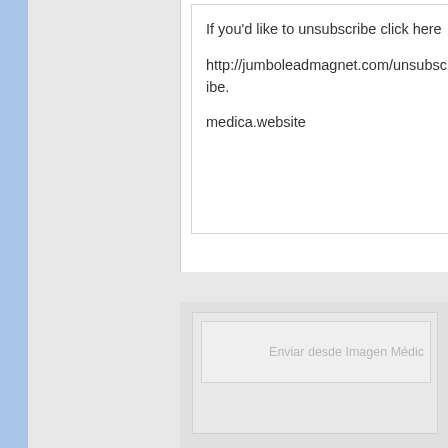If you'd like to unsubscribe click here
http://jumboleadmagnet.com/unsubscribe.
medica.website
Enviar desde Imagen Médic